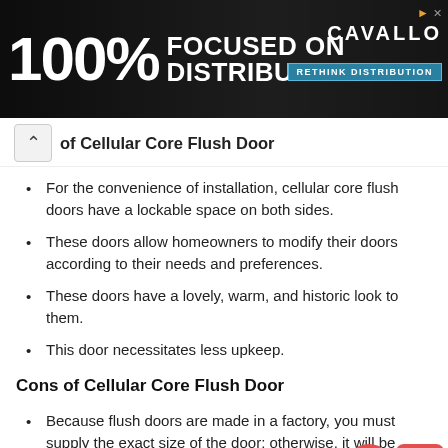[Figure (photo): Advertisement banner: dark background with industrial imagery. Text reads '100% FOCUSED ON DISTRIBUTORS' with CAVALLO logo and 'RETHINK DISTRIBUTION' button.]
of Cellular Core Flush Door
For the convenience of installation, cellular core flush doors have a lockable space on both sides.
These doors allow homeowners to modify their doors according to their needs and preferences.
These doors have a lovely, warm, and historic look to them.
This door necessitates less upkeep.
Cons of Cellular Core Flush Door
Because flush doors are made in a factory, you must supply the exact size of the door; otherwise, it will be difficult to redo the size.